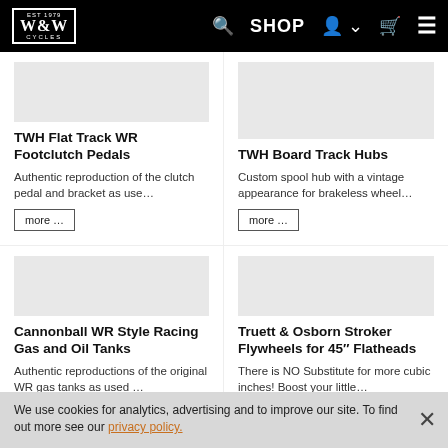W&W Cycles — EST 1979 — Search, SHOP, Account, Cart, Menu
TWH Flat Track WR Footclutch Pedals
Authentic reproduction of the clutch pedal and bracket as use…
more …
TWH Board Track Hubs
Custom spool hub with a vintage appearance for brakeless wheel…
more …
Cannonball WR Style Racing Gas and Oil Tanks
Authentic reproductions of the original WR gas tanks as used …
Truett & Osborn Stroker Flywheels for 45″ Flatheads
There is NO Substitute for more cubic inches! Boost your little…
We use cookies for analytics, advertising and to improve our site. To find out more see our privacy policy.